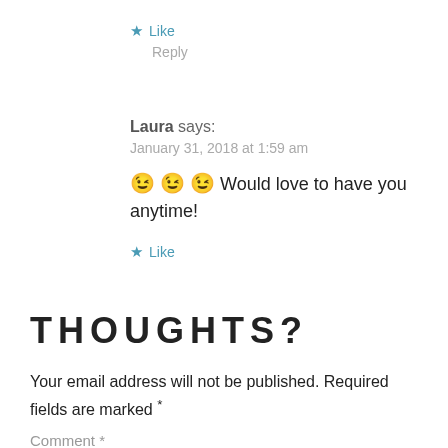★ Like
Reply
Laura says:
January 31, 2018 at 1:59 am
😉 😉 😉 Would love to have you anytime!
★ Like
THOUGHTS?
Your email address will not be published. Required fields are marked *
Comment *